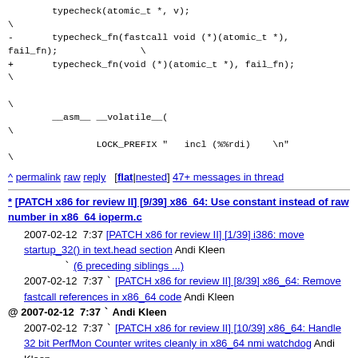typecheck(atomic_t *, v);
\
-       typecheck_fn(fastcall void (*)(atomic_t *),
fail_fn);               \
+       typecheck_fn(void (*)(atomic_t *), fail_fn);
\

\
        __asm__ __volatile__(
\
                LOCK_PREFIX "   incl (%%rdi)    \n"
\
^ permalink raw reply [flat|nested] 47+ messages in thread
* [PATCH x86 for review II] [9/39] x86_64: Use constant instead of raw number in x86_64 ioperm.c
   2007-02-12  7:37 [PATCH x86 for review II] [1/39] i386: move startup_32() in text.head section Andi Kleen
              ` (6 preceding siblings ...)
   2007-02-12  7:37 ` [PATCH x86 for review II] [8/39] x86_64: Remove fastcall references in x86_64 code Andi Kleen
@ 2007-02-12  7:37 ` Andi Kleen
   2007-02-12  7:37 ` [PATCH x86 for review II] [10/39] x86_64: Handle 32 bit PerfMon Counter writes cleanly in x86_64 nmi watchdog Andi Kleen